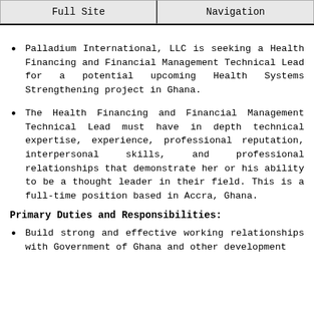Full Site | Navigation
Palladium International, LLC is seeking a Health Financing and Financial Management Technical Lead for a potential upcoming Health Systems Strengthening project in Ghana.
The Health Financing and Financial Management Technical Lead must have in depth technical expertise, experience, professional reputation, interpersonal skills, and professional relationships that demonstrate her or his ability to be a thought leader in their field. This is a full-time position based in Accra, Ghana.
Primary Duties and Responsibilities:
Build strong and effective working relationships with Government of Ghana and other development